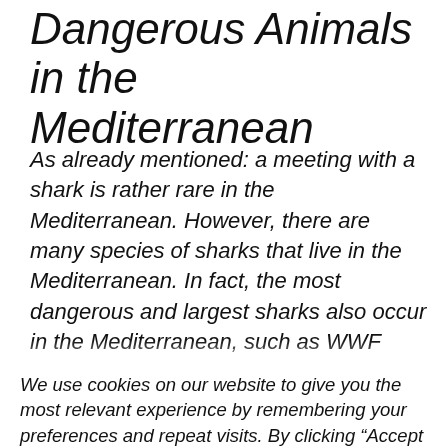Dangerous Animals in the Mediterranean
As already mentioned: a meeting with a shark is rather rare in the Mediterranean. However, there are many species of sharks that live in the Mediterranean. In fact, the most dangerous and largest sharks also occur in the Mediterranean, such as WWF [cut off]
We use cookies on our website to give you the most relevant experience by remembering your preferences and repeat visits. By clicking “Accept All”, you consent to the use of ALL the cookies. However, you may visit “Cookie Settings” to provide a controlled consent.